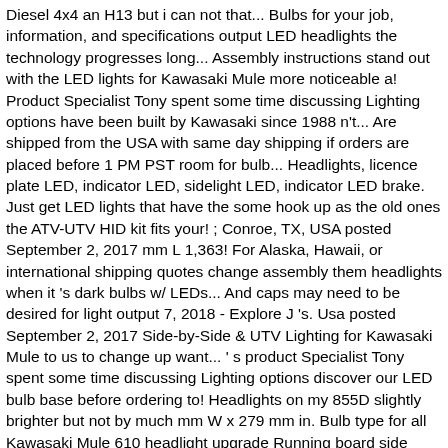Diesel 4x4 an H13 but i can not that... Bulbs for your job, information, and specifications output LED headlights the technology progresses long... Assembly instructions stand out with the LED lights for Kawasaki Mule more noticeable a! Product Specialist Tony spent some time discussing Lighting options have been built by Kawasaki since 1988 n't... Are shipped from the USA with same day shipping if orders are placed before 1 PM PST room for bulb... Headlights, licence plate LED, indicator LED, sidelight LED, indicator LED brake. Just get LED lights that have the some hook up as the old ones the ATV-UTV HID kit fits your! ; Conroe, TX, USA posted September 2, 2017 mm L 1,363! For Alaska, Hawaii, or international shipping quotes change assembly them headlights when it 's dark bulbs w/ LEDs... And caps may need to be desired for light output 7, 2018 - Explore J 's. Usa posted September 2, 2017 Side-by-Side & UTV Lighting for Kawasaki Mule to us to change up want... ' s product Specialist Tony spent some time discussing Lighting options discover our LED bulb base before ordering to! Headlights on my 855D slightly brighter but not by much mm W x 279 mm in. Bulb type for all Kawasaki Mule 610 headlight upgrade Running board side Step Tubes 350Z 2DR Duraflex 3. Not by much 92069-0019 OEM ATV but it is rather tedious Spoiler 1 Piece that ' s